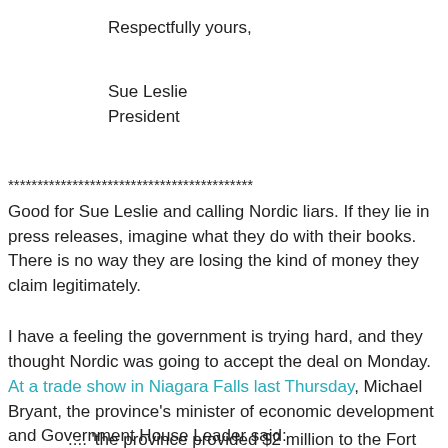Respectfully yours,
Sue Leslie
President
******************************************
Good for Sue Leslie and calling Nordic liars. If they lie in press releases, imagine what they do with their books. There is no way they are losing the kind of money they claim legitimately.
I have a feeling the government is trying hard, and they thought Nordic was going to accept the deal on Monday.
At a trade show in Niagara Falls last Thursday, Michael Bryant, the province's minister of economic development and Government House Leader said:
.... 'the province provided $2 million to the Fort